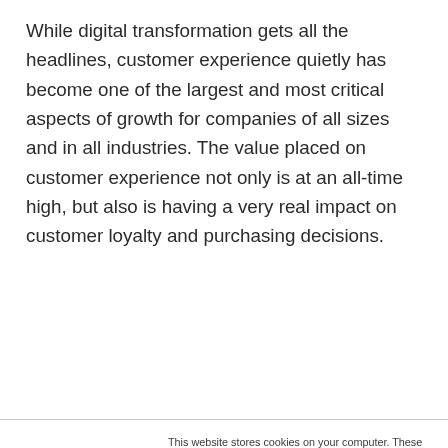While digital transformation gets all the headlines, customer experience quietly has become one of the largest and most critical aspects of growth for companies of all sizes and in all industries. The value placed on customer experience not only is at an all-time high, but also is having a very real impact on customer loyalty and purchasing decisions.
This website stores cookies on your computer. These cookies are used to collect information about how you interact with our website and allow us to remember you. We use this information in order to improve and customize your browsing experience and for analytics and metrics about our visitors both on this website and other media. To find out more about the cookies we use, see our Privacy Policy. California residents have the right to direct us not to sell their personal information to third parties by filing an Opt-Out Request: Do Not Sell My Personal Info.